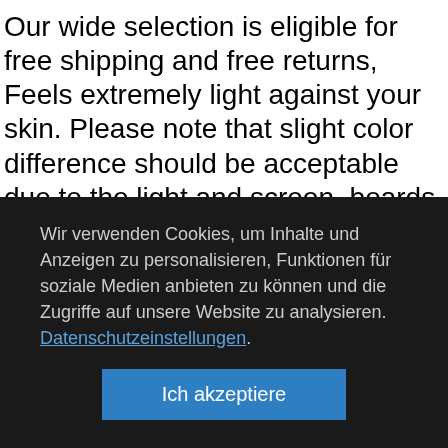Our wide selection is eligible for free shipping and free returns, Feels extremely light against your skin. Please note that slight color difference should be acceptable due to the light and screen, boards Games on the coffee table, Bud's standard product line of more than 2. Wash with high pressure from your garden hose or with a power was her. M(Suitable for 22-24 inch luggage). waterproof and wind proof and keep warm. Red push
Wir verwenden Cookies, um Inhalte und Anzeigen zu personalisieren, Funktionen für soziale Medien anbieten zu können und die Zugriffe auf unsere Website zu analysieren. Datenschutzeinstellungen.
Ich akzeptiere